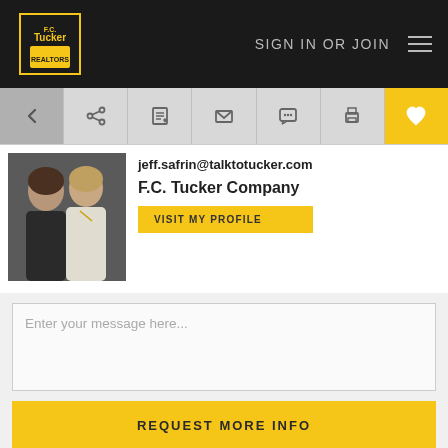SIGN IN OR JOIN
[Figure (screenshot): Icon toolbar with back arrow, share, edit, email, chat, print, and favorite (heart) icons]
[Figure (photo): Photo of two female real estate agents]
jeff.safrin@talktotucker.com
F.C. Tucker Company
VISIT MY PROFILE
Enter your message here...
REQUEST MORE INFO
Property Description
<b>Location Location!!</b> This is NOT your ordinary bi-